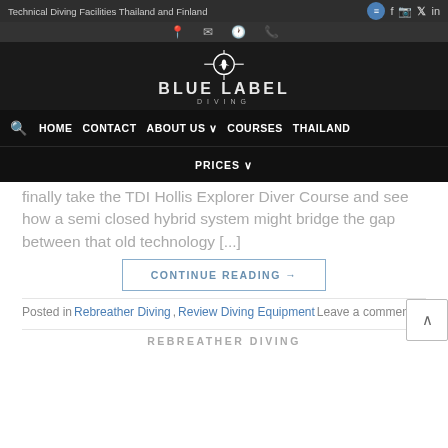Technical Diving Facilities Thailand and Finland
[Figure (logo): Blue Label Diving logo - circular crosshair with plane, white on dark background, text BLUE LABEL DIVING]
HOME  CONTACT  ABOUT US  COURSES  THAILAND  PRICES
finally take the TDI Hollis Explorer Diver Course and see how a semi closed hybrid system might bridge the gap between that old technology [...]
CONTINUE READING →
Posted in Rebreather Diving, Review Diving Equipment Leave a comment
REBREATHER DIVING